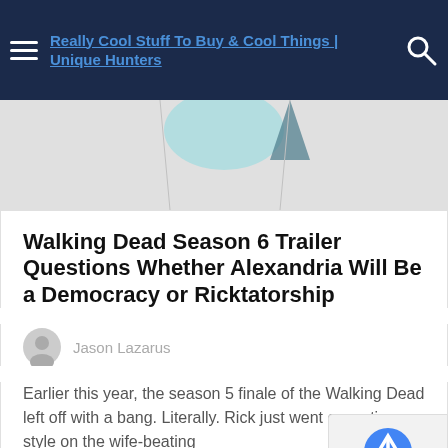Really Cool Stuff To Buy & Cool Things | Unique Hunters
[Figure (illustration): Partial hero image strip showing light blue and dark geometric shapes on a grey background]
Walking Dead Season 6 Trailer Questions Whether Alexandria Will Be a Democracy or Ricktatorship
Jason Lazarus
Earlier this year, the season 5 finale of the Walking Dead left off with a bang. Literally. Rick just went execution style on the wife-beating
READ MO